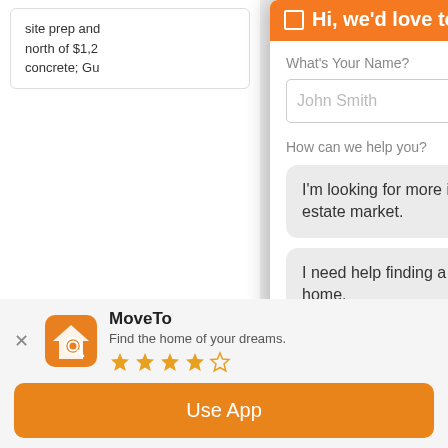site prep and north of $1,2 concrete; Gu
All information sh as accurate by A Service, Inc. All r
Paradise V
[Figure (screenshot): Chat overlay panel with header 'Hi, we'd love to chat!', name input field with placeholder 'John Smith', 'How can we help you?' label, three option buttons: 'I'm looking for more info on the real estate market.', 'I need help finding a specific type of home.', 'I'm just browsing.', and footer 'Already Signed Up? Click here to login.']
[Figure (screenshot): App install banner at the bottom showing MoveTo app icon (orange house with magnifier), app name 'MoveTo', description 'Find the home of your dreams.', 4-star rating, close X button, and 'Use App' orange button.]